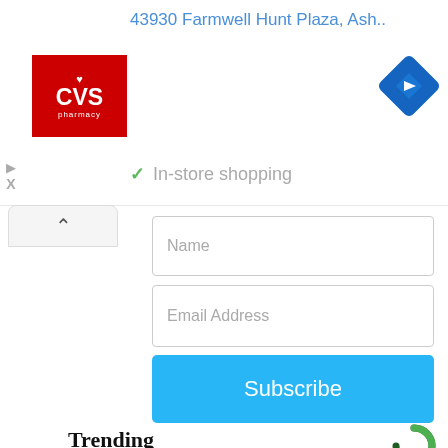[Figure (screenshot): CVS Pharmacy ad banner showing store address '43930 Farmwell Hunt Plaza, Ash..' with CVS pharmacy logo, navigation/direction icon, and 'In-store shopping' label with checkmark]
Name
Email Address
Subscribe
Trending
[Figure (photo): A black metal lantern wall sconce with a glowing light bulb, mounted against a rough stone or concrete wall with a yellow painted element in the background]